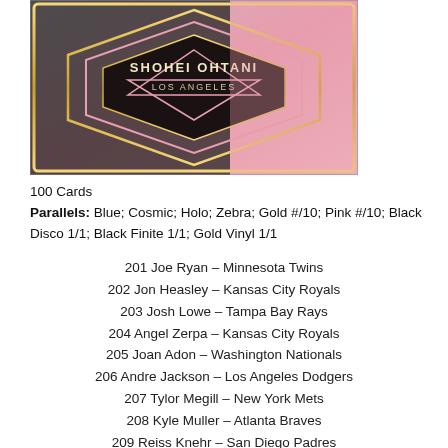[Figure (illustration): Trading card with black and pink geometric diamond/hexagon design, gold borders, text reading 'SHOHEI OHTANI LOS ANGELES' on a gradient pink/grey background.]
100 Cards
Parallels: Blue; Cosmic; Holo; Zebra; Gold #/10; Pink #/10; Black Disco 1/1; Black Finite 1/1; Gold Vinyl 1/1
201 Joe Ryan – Minnesota Twins
202 Jon Heasley – Kansas City Royals
203 Josh Lowe – Tampa Bay Rays
204 Angel Zerpa – Kansas City Royals
205 Joan Adon – Washington Nationals
206 Andre Jackson – Los Angeles Dodgers
207 Tylor Megill – New York Mets
208 Kyle Muller – Atlanta Braves
209 Reiss Knehr – San Diego Padres
210 Bryan De La Cruz – Miami Marlins
211 Vidal Brujan – Tampa Bay Rays
212 Cal Raleigh – Seattle Mariners
213 Jake McCarthy – Arizona Diamondbacks